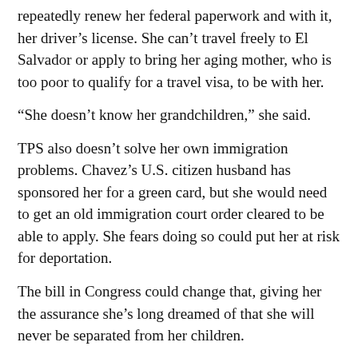repeatedly renew her federal paperwork and with it, her driver’s license. She can’t travel freely to El Salvador or apply to bring her aging mother, who is too poor to qualify for a travel visa, to be with her.
“She doesn’t know her grandchildren,” she said.
TPS also doesn’t solve her own immigration problems. Chavez’s U.S. citizen husband has sponsored her for a green card, but she would need to get an old immigration court order cleared to be able to apply. She fears doing so could put her at risk for deportation.
The bill in Congress could change that, giving her the assurance she’s long dreamed of that she will never be separated from her children.
“If there were an amnesty or residency for all those on Temporary Protected Status, I’d automatically be in,” she said. “I’d always be protected from deportation. It would have a big impact.”